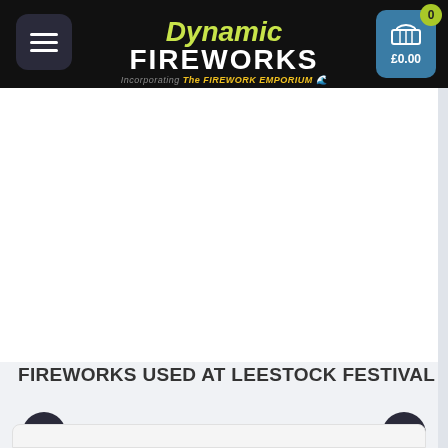[Figure (logo): Dynamic Fireworks logo incorporating The Firework Emporium, with hamburger menu icon on left and shopping cart showing £0.00 on right, on black header background]
[Figure (photo): Empty white slide area for fireworks image carousel]
FIREWORKS USED AT LEESTOCK FESTIVAL
[Figure (other): Left carousel navigation arrow (chevron left) and right carousel navigation arrow (chevron right)]